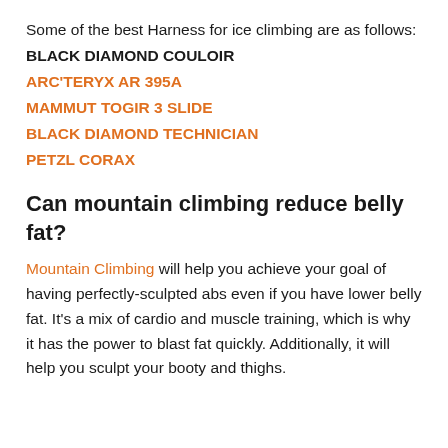Some of the best Harness for ice climbing are as follows:
BLACK DIAMOND COULOIR
ARC'TERYX AR 395A
MAMMUT TOGIR 3 SLIDE
BLACK DIAMOND TECHNICIAN
PETZL CORAX
Can mountain climbing reduce belly fat?
Mountain Climbing will help you achieve your goal of having perfectly-sculpted abs even if you have lower belly fat. It's a mix of cardio and muscle training, which is why it has the power to blast fat quickly. Additionally, it will help you sculpt your booty and thighs.